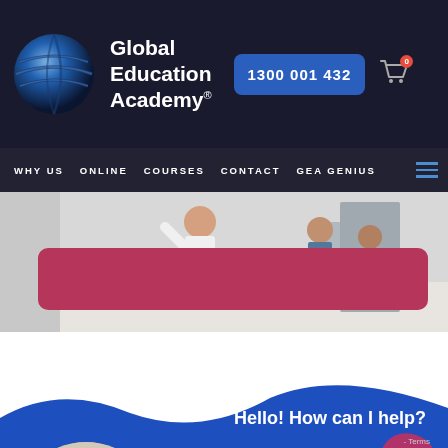[Figure (logo): Global Education Academy logo with blue globe sphere and white text]
1300 001 432
[Figure (other): Shopping cart icon with red badge showing 0]
WHY US   ONLINE   COURSES   CONTACT   GEA GENIUS
[Figure (photo): Classroom or training scene with people, partially visible]
[Figure (other): Rose/pink rounded rectangle banner overlay]
[Figure (other): Blue wave section with Hello chat widget and circular children photo]
Hello! How can I help?
- Terms